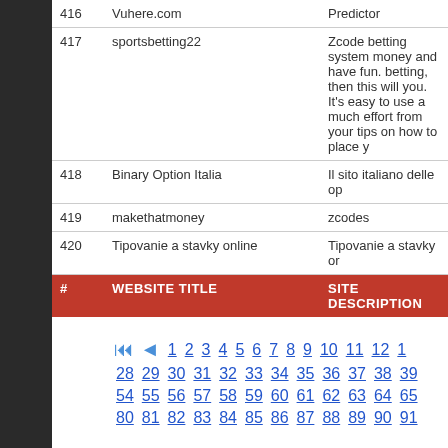| # | WEBSITE TITLE | SITE DESCRIPTION |
| --- | --- | --- |
| 416 | Vuhere.com | Predictor |
| 417 | sportsbetting22 | Zcode betting system money and have fun. betting, then this will you. It's easy to use a much effort from your tips on how to place y |
| 418 | Binary Option Italia | Il sito italiano delle op |
| 419 | makethatmoney | zcodes |
| 420 | Tipovanie a stavky online | Tipovanie a stavky or |
# 28 29 30 31 32 33 34 35 36 37 38 39 54 55 56 57 58 59 60 61 62 63 64 65 80 81 82 83 84 85 86 87 88 89 90 91